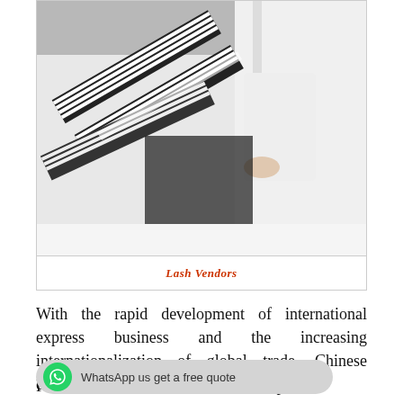[Figure (photo): Person in white lab coat inspecting or sorting rows of false eyelash extensions arranged in trays on a white surface.]
Lash Vendors
With the rapid development of international express business and the increasing internationalization of global trade, Chinese enterprises are Americanizing.
WhatsApp us get a free quote
Professional services and efficient express